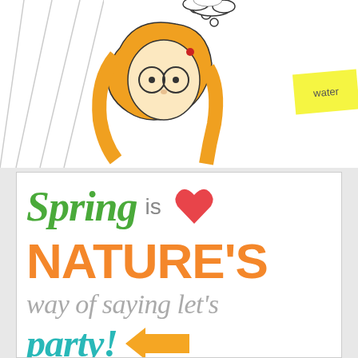[Figure (illustration): Top section showing a cartoon girl with orange/blonde hair, glasses, and thought bubbles, alongside diagonal lines on the left and a yellow sticky note labeled 'water' on the right]
[Figure (infographic): White card with spring quote: 'Spring is [heart] NATURE'S way of saying let's party!' with a yellow arrow, in green, gray, orange, and teal colors]